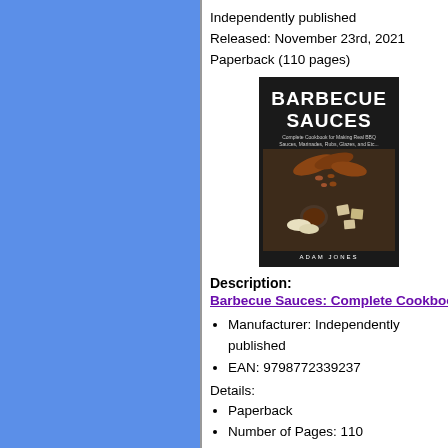Independently published
Released: November 23rd, 2021
Paperback (110 pages)
[Figure (photo): Book cover of 'Barbecue Sauces: Complete Cookbook for Making Real BBQ Sauces, Marinades, Rubs, Glazes, and Etc.' by Adam Jones. Dark background with sausages, chicken wings, nuts/seeds, a bowl of sauce, and crackers/chips arranged on a baking tray.]
Description:
Barbecue Sauces: Complete Cookbook for Making Real BBQ S
Manufacturer: Independently published
EAN: 9798772339237
Details:
Paperback
Number of Pages: 110
Author: Adam Jones
Publication Date: November 23rd, 2021
Release Date: November 23rd, 2021